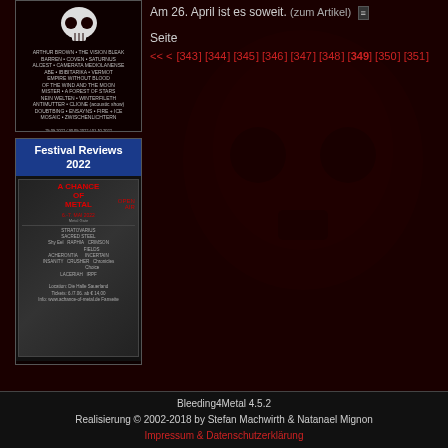[Figure (illustration): Dark metal festival poster with skull graphic, listing bands including Arthur Brown, The Vision Bleak, Barren, Coven, Saturnus, Alcest, Camerata Mediolanense, ABE, Ibibitarika, Vermot, Empire Without Blood, Of the Wind and the Moon, Mister, A Forest of Stars, Nein Welten, Winterfileth, Antimutter, Clione, Doubtbing, Ensayns, Fire + Ice, Mosaic, Zwischenlichtern. Dates: 29.09.2022 / 30.09.2022 / 01.10.2022. Location: Balve - Balver Hoehle]
Am 26. April ist es soweit. (zum Artikel)
Seite
<< < [343] [344] [345] [346] [347] [348] [349] [350] [351]
[Figure (illustration): Festival Reviews 2022 box with A Chance of Metal Open Air festival poster, 6-7 Mai 2022, showing band logos including Sacred Steel, Crimsion Fields, Crusher, Laceriah, and others]
Bleeding4Metal 4.5.2
Realisierung © 2002-2018 by Stefan Machwirth & Natanael Mignon
Impressum & Datenschutzerklärung